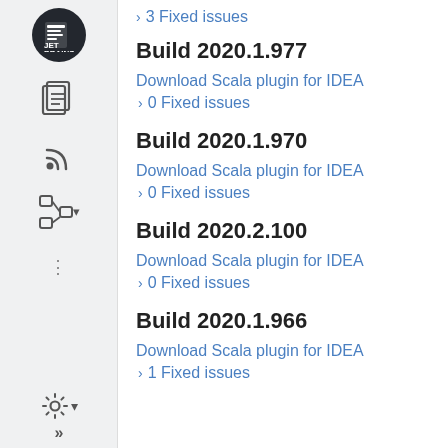> 3 Fixed issues
Build 2020.1.977
Download Scala plugin for IDEA
> 0 Fixed issues
Build 2020.1.970
Download Scala plugin for IDEA
> 0 Fixed issues
Build 2020.2.100
Download Scala plugin for IDEA
> 0 Fixed issues
Build 2020.1.966
Download Scala plugin for IDEA
> 1 Fixed issues